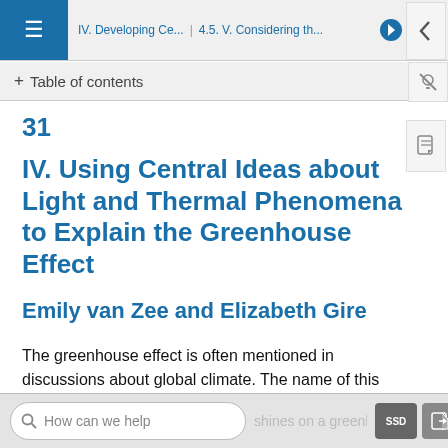IV. Developing Ce... | 4.5. V. Considering th...
+ Table of contents
31
IV. Using Central Ideas about Light and Thermal Phenomena to Explain the Greenhouse Effect
Emily van Zee and Elizabeth Gire
The greenhouse effect is often mentioned in discussions about global climate. The name of this effect refers to an analogy between what happens when the Sun shines on the entire Earth and what happens on a greenhouse...